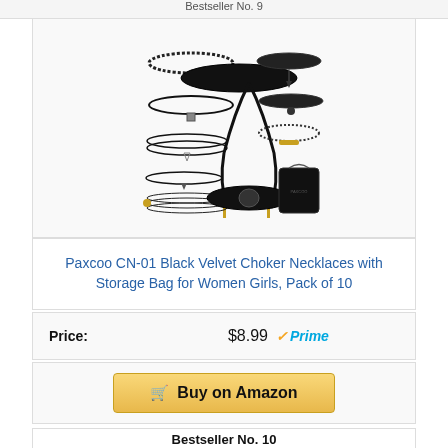Bestseller No. 9
[Figure (photo): Collection of 10 black choker necklaces arranged in a display with a black storage bag, showing various styles including velvet, lace, and cord necklaces]
Paxcoo CN-01 Black Velvet Choker Necklaces with Storage Bag for Women Girls, Pack of 10
Price: $8.99 Prime
Buy on Amazon
Bestseller No. 10